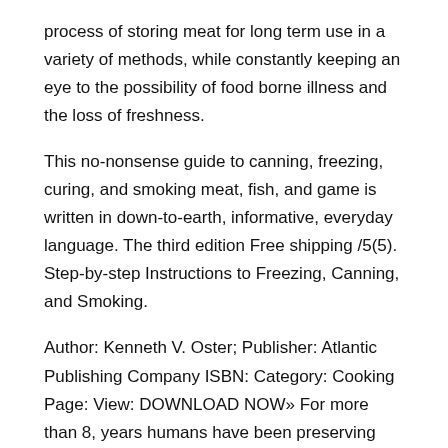process of storing meat for long term use in a variety of methods, while constantly keeping an eye to the possibility of food borne illness and the loss of freshness.
This no-nonsense guide to canning, freezing, curing, and smoking meat, fish, and game is written in down-to-earth, informative, everyday language. The third edition Free shipping /5(5). Step-by-step Instructions to Freezing, Canning, and Smoking.
Author: Kenneth V. Oster; Publisher: Atlantic Publishing Company ISBN: Category: Cooking Page: View: DOWNLOAD NOW» For more than 8, years humans have been preserving meat and fish through canning, curing, smoking, and freezing, use techniques that remove the moisture and make it possible to keep meat.
Save money and avoid hormones and other additives in commercial meats. Join generations of cooks who have learned to process and preserve their own meats at home.
Simple, safety-conscious instructions, pros and cons, money-saving alternatives and more for every meat, fish, and game cut. Ma...